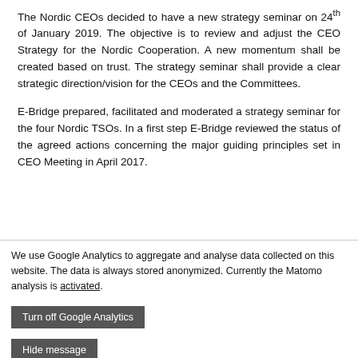The Nordic CEOs decided to have a new strategy seminar on 24th of January 2019. The objective is to review and adjust the CEO Strategy for the Nordic Cooperation. A new momentum shall be created based on trust. The strategy seminar shall provide a clear strategic direction/vision for the CEOs and the Committees.
E-Bridge prepared, facilitated and moderated a strategy seminar for the four Nordic TSOs. In a first step E-Bridge reviewed the status of the agreed actions concerning the major guiding principles set in CEO Meeting in April 2017. E-Bridge reviewed the Nordic TSO current strategy and the [partially obscured]
We use Google Analytics to aggregate and analyse data collected on this website. The data is always stored anonymized. Currently the Matomo analysis is activated.
Turn off Google Analytics
Hide message
This website uses cookies.
Hide message